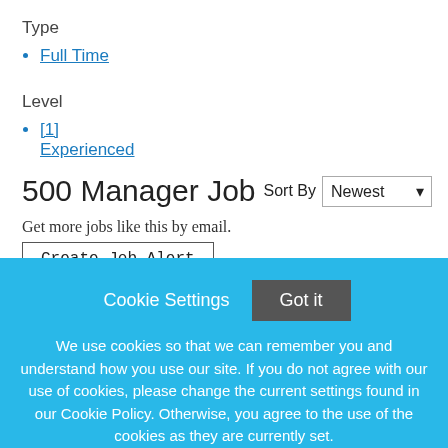Type
Full Time
Level
Jobs
[1] Experienced
500 Manager Job
Sort By Newest
Get more jobs like this by email.
Create Job Alert
Cookie Settings
Got it
We use cookies so that we can remember you and understand how you use our site. If you do not agree with our use of cookies, please change the current settings found in our Cookie Policy. Otherwise, you agree to the use of the cookies as they are currently set.